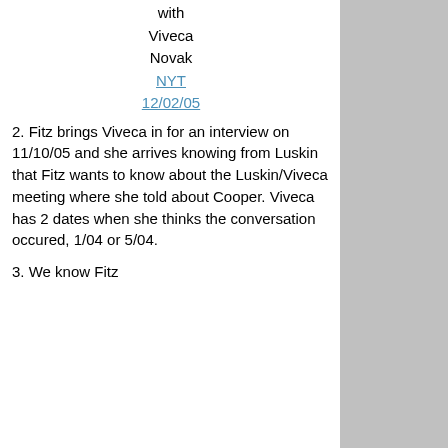with Viveca Novak NYT 12/02/05
2. Fitz brings Viveca in for an interview on 11/10/05 and she arrives knowing from Luskin that Fitz wants to know about the Luskin/Viveca meeting where she told about Cooper. Viveca has 2 dates when she thinks the conversation occured, 1/04 or 5/04.
3. We know Fitz